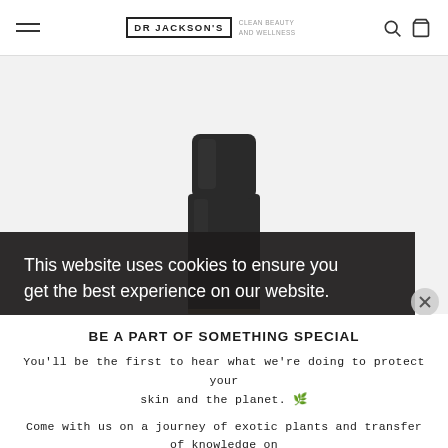DR JACKSON'S | CLEAN BEAUTY AND WELLNESS
[Figure (photo): A black cylindrical product bottle/container photographed against a light grey background, showing the cap/top of the product.]
This website uses cookies to ensure you get the best experience on our website.
BE A PART OF SOMETHING SPECIAL
You'll be the first to hear what we're doing to protect your skin and the planet. 🌿
Come with us on a journey of exotic plants and transfer of knowledge on